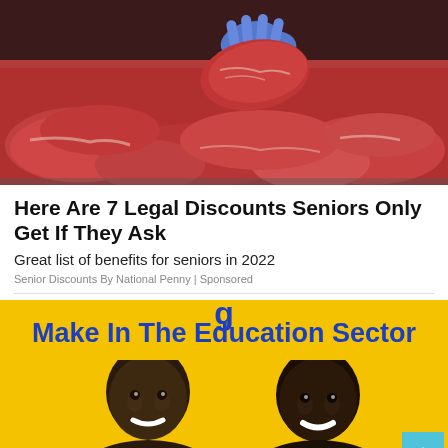[Figure (photo): A butcher in blue gloves holding up a large cut of raw red meat over a display case of various cuts of meat]
Here Are 7 Legal Discounts Seniors Only Get If They Ask
Great list of benefits for seniors in 2022
Senior Discounts By National Penny | Sponsored
[Figure (photo): A yellow advertisement banner reading 'Make In The Education Sector' in blue bold text, with photos of two smiling Black men below the text on a yellow background]